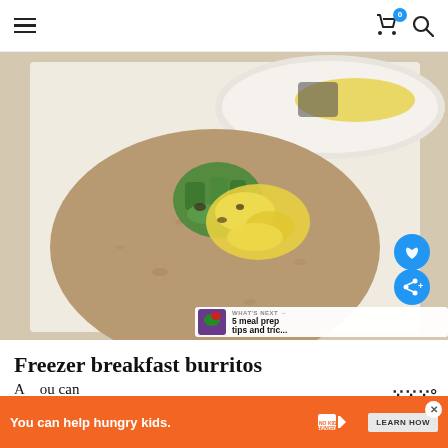Navigation menu, cart (0), search icons
[Figure (photo): A whole wheat flour tortilla laid flat on parchment paper with scrambled eggs and green pepper filling placed in the center. A white plate with more egg, pepper, and sausage filling is visible in the upper portion of the image.]
Freezer breakfast burritos
A... ou can
[Figure (other): Advertisement banner: orange background with text 'You can help hungry kids.' and No Kid Hungry logo and 'LEARN HOW' button. A close button (X) is visible.]